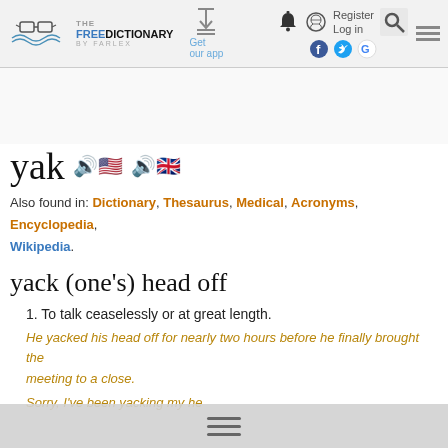The Free Dictionary by Farlex | Get our app | Register | Log in
yak
Also found in: Dictionary, Thesaurus, Medical, Acronyms, Encyclopedia, Wikipedia.
yack (one's) head off
1. To talk ceaselessly or at great length.
He yacked his head off for nearly two hours before he finally brought the meeting to a close.
Sorry, I've been yacking my head off about my research. I hope I'm not